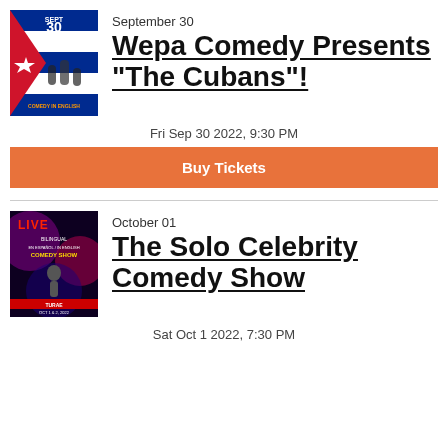[Figure (illustration): Event poster for Wepa Comedy Presents The Cubans - colorful poster with Cuban flag motif and performers]
September 30
Wepa Comedy Presents "The Cubans"!
Fri Sep 30 2022, 9:30 PM
Buy Tickets
[Figure (illustration): Event poster for The Solo Celebrity Comedy Show - colorful poster with 'LIVE' text and performer]
October 01
The Solo Celebrity Comedy Show
Sat Oct 1 2022, 7:30 PM